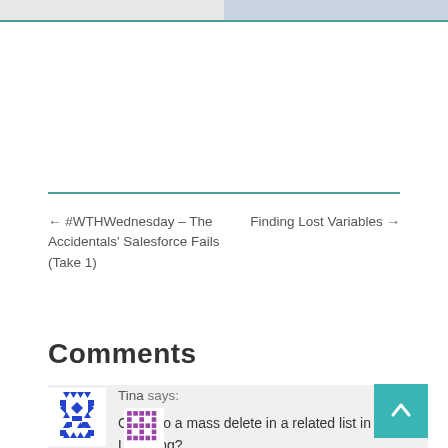← #WTHWednesday – The Accidentals' Salesforce Fails (Take 1)
Finding Lost Variables →
Comments
Tina says:
Can I do a mass delete in a related list in Lightning?
Reply   May 16, 2019 at 4:1